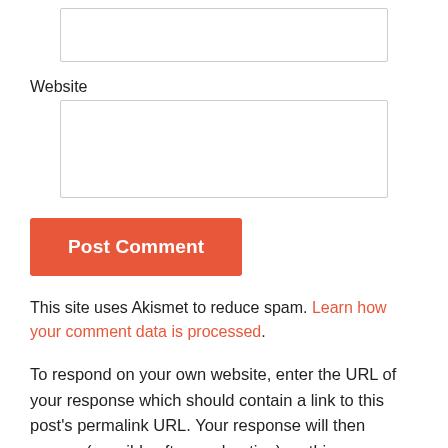Website
Post Comment
This site uses Akismet to reduce spam. Learn how your comment data is processed.
To respond on your own website, enter the URL of your response which should contain a link to this post's permalink URL. Your response will then appear (possibly after moderation) on this page. Want to update or remove your response? Update or delete your post and re-enter your post's URL again. (Learn